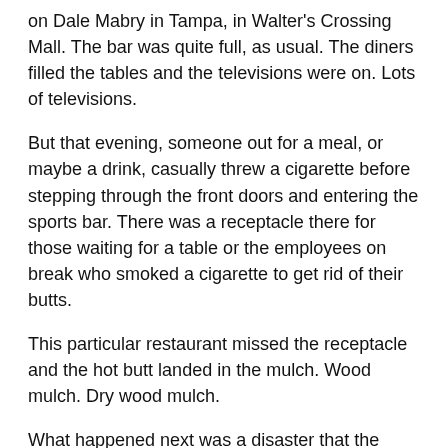on Dale Mabry in Tampa, in Walter's Crossing Mall. The bar was quite full, as usual. The diners filled the tables and the televisions were on. Lots of televisions.
But that evening, someone out for a meal, or maybe a drink, casually threw a cigarette before stepping through the front doors and entering the sports bar. There was a receptacle there for those waiting for a table or the employees on break who smoked a cigarette to get rid of their butts.
This particular restaurant missed the receptacle and the hot butt landed in the mulch. Wood mulch. Dry wood mulch.
What happened next was a disaster that the business, in several months, became a triumph.
“It was dry enough for the mulch to catch fire,” says Joe Webb, president of the Palm Beach County restaurant chain. â€œThe fire crept behind the wall, so we couldn’t see it. It was between the walls.
â€œWe don’t know when it happened,â€ adds Webb. â€œIt could